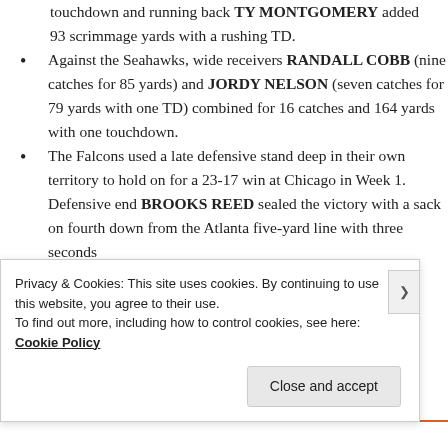touchdown and running back TY MONTGOMERY added 93 scrimmage yards with a rushing TD.
Against the Seahawks, wide receivers RANDALL COBB (nine catches for 85 yards) and JORDY NELSON (seven catches for 79 yards with one TD) combined for 16 catches and 164 yards with one touchdown.
The Falcons used a late defensive stand deep in their own territory to hold on for a 23-17 win at Chicago in Week 1. Defensive end BROOKS REED sealed the victory with a sack on fourth down from the Atlanta five-yard line with three seconds
Privacy & Cookies: This site uses cookies. By continuing to use this website, you agree to their use. To find out more, including how to control cookies, see here: Cookie Policy
Close and accept